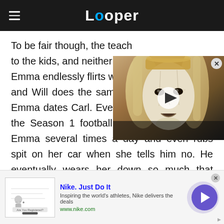Looper
To be fair though, the teach to the kids, and neither gro Emma endlessly flirts with W and Will does the same thing later on when Emma dates Carl. Even more uncomfortably, the Season 1 football coach Ken harasses Emma several times a day and even rubs spit on her car when she tells him no. He eventually wears her down so much that Emma says yes to marrying him despite being
[Figure (screenshot): Video overlay showing a character in an elf/fantasy costume with white face paint and a play button overlay]
[Figure (infographic): Nike advertisement banner showing logo, tagline 'Nike. Just Do It', description 'Inspiring the world's athletes, Nike delivers the deals', url 'www.nike.com', and a purple arrow button]